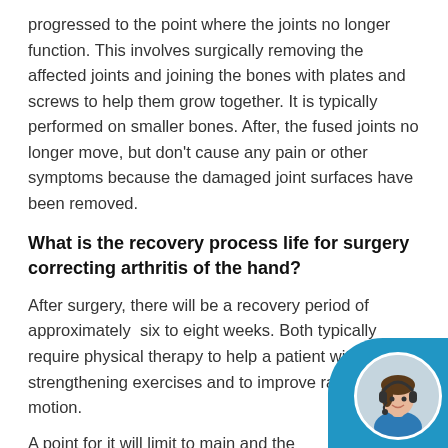progressed to the point where the joints no longer function. This involves surgically removing the affected joints and joining the bones with plates and screws to help them grow together. It is typically performed on smaller bones. After, the fused joints no longer move, but don't cause any pain or other symptoms because the damaged joint surfaces have been removed.
What is the recovery process life for surgery correcting arthritis of the hand?
After surgery, there will be a recovery period of approximately six to eight weeks. Both typically require physical therapy to help a patient with strengthening exercises and to improve range of motion.
A point for it will limit to main and the...